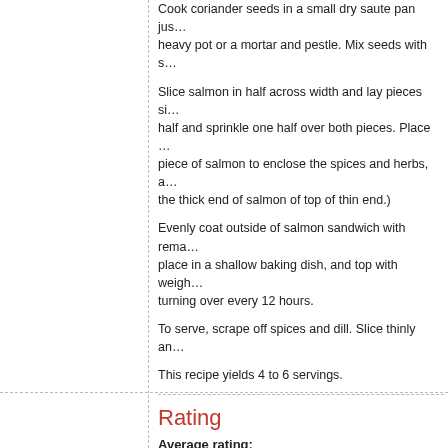Cook coriander seeds in a small dry saute pan jus… heavy pot or a mortar and pestle. Mix seeds with s…
Slice salmon in half across width and lay pieces si… half and sprinkle one half over both pieces. Place … piece of salmon to enclose the spices and herbs, a… the thick end of salmon of top of thin end.)
Evenly coat outside of salmon sandwich with rema… place in a shallow baking dish, and top with weigh… turning over every 12 hours.
To serve, scrape off spices and dill. Slice thinly an…
This recipe yields 4 to 6 servings.
Rating
Average rating:
[Figure (other): Ten empty star icons representing unrated average rating]
Unrated, please add a rating
Submit your rating:
[Figure (other): Ten empty star icons for submitting a rating]
Click a star to rate this recipe.